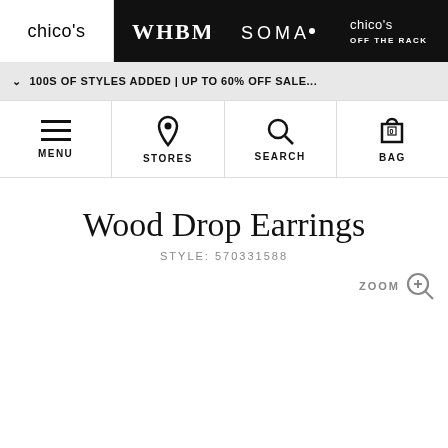chico's | WHBM | SOMA | chico's OFF THE RACK
100S OF STYLES ADDED | UP TO 60% OFF SALE...
MENU | STORES | SEARCH | BAG
Wood Drop Earrings
STYLE: 570331588
ZOOM